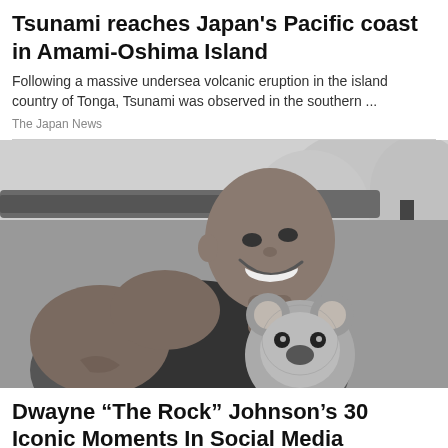Tsunami reaches Japan's Pacific coast in Amami-Oshima Island
Following a massive undersea volcanic eruption in the island country of Tonga, Tsunami was observed in the southern ...
The Japan News
[Figure (photo): Black and white photo of a bald muscular man (Dwayne Johnson) smiling, holding a koala bear, with trees and wooden structures in the background]
Dwayne “The Rock” Johnson’s 30 Iconic Moments In Social Media